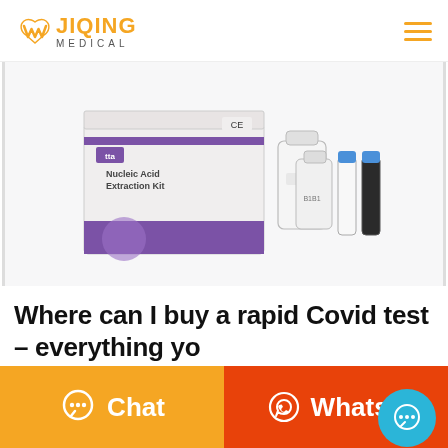[Figure (logo): Jiqing Medical logo with orange W icon and text JIQING MEDICAL]
[Figure (photo): Nucleic Acid Extraction Kit box with medical vials and bottles]
Where can I buy a rapid Covid test – everything yo
[Figure (other): Orange Chat button and red WhatsApp button at the bottom]